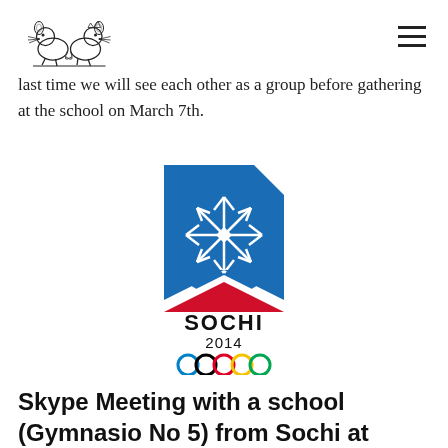[logo] [hamburger menu]
last time we will see each other as a group before gathering at the school on March 7th.
[Figure (logo): Sochi 2014 Winter Olympics logo: blue and white snowflake emblem above red and blue mountain shapes, with 'SOCHI 2014' text and Olympic rings below]
Skype Meeting with a school (Gymnasio No 5) from Sochi at